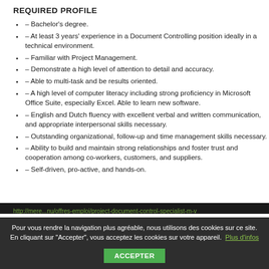REQUIRED PROFILE
– Bachelor's degree.
– At least 3 years' experience in a Document Controlling position ideally in a technical environment.
– Familiar with Project Management.
– Demonstrate a high level of attention to detail and accuracy.
– Able to multi-task and be results oriented.
– A high level of computer literacy including strong proficiency in Microsoft Office Suite, especially Excel. Able to learn new software.
– English and Dutch fluency with excellent verbal and written communication, and appropriate interpersonal skills necessary.
– Outstanding organizational, follow-up and time management skills necessary.
– Ability to build and maintain strong relationships and foster trust and cooperation among co-workers, customers, and suppliers.
– Self-driven, pro-active, and hands-on.
Pour vous rendre la navigation plus agréable, nous utilisons des cookies sur ce site. En cliquant sur "Accepter", vous acceptez les cookies sur votre appareil. Plus d'infos  ACCEPTER